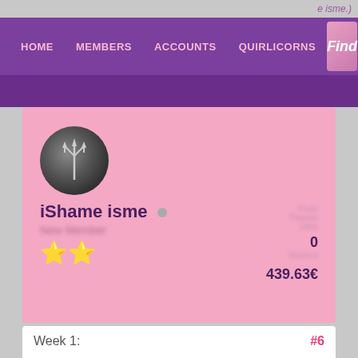e isme.)
HOME   MEMBERS   ACCOUNTS   QUIRLICORNS   Find
[Figure (screenshot): Purple navigation bar with pink text links: HOME, MEMBERS, ACCOUNTS, QUIRLICORNS, and a Find button]
[Figure (photo): Circular avatar with dark spiral/trident image]
iShame isme
⭐⭐
0
439.63€
Week 1:
#6
[Figure (illustration): Fantasy creature illustrations in teal/dark colors at the bottom of the page]